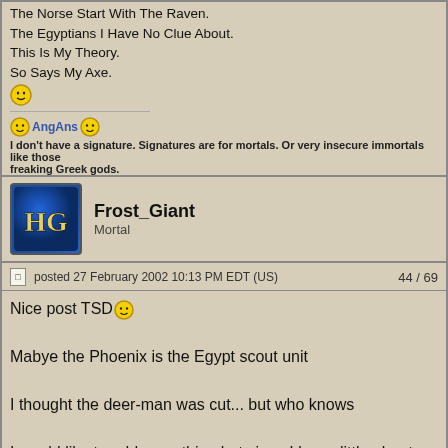The Norse Start With The Raven.
The Egyptians I Have No Clue About.
This Is My Theory.
So Says My Axe.
[smiley]
[smiley] AngAns [smiley]
I don't have a signature. Signatures are for mortals. Or very insecure immortals like those freaking Greek gods.
Frost_Giant
Mortal
posted 27 February 2002 10:13 PM EDT (US)    44 / 69
Nice post TSD [smiley]

Mabye the Phoenix is the Egypt scout unit

I thought the deer-man was cut... but who knows

I would like to add something but since I know little about mythology I'll keep my mouth shut [smiley]
Proud templar of the FPH clan
Now, you must all agree with me, or I'm going to kill you. Got it?-TSD

The Road goes ever on and on. Down from the door where it began. Now far ahead the Road has gone, And I must follow, if I can. Pursuing it with eager feet. Until it joins some larger way. Where many paths and errands meet.And whither then? I cannot say.
The Shadow D...